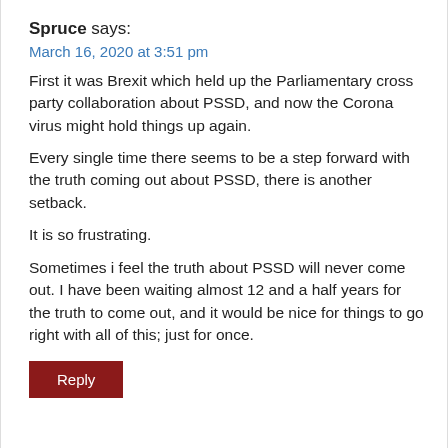Spruce says:
March 16, 2020 at 3:51 pm
First it was Brexit which held up the Parliamentary cross party collaboration about PSSD, and now the Corona virus might hold things up again.
Every single time there seems to be a step forward with the truth coming out about PSSD, there is another setback.
It is so frustrating.
Sometimes i feel the truth about PSSD will never come out. I have been waiting almost 12 and a half years for the truth to come out, and it would be nice for things to go right with all of this; just for once.
Reply